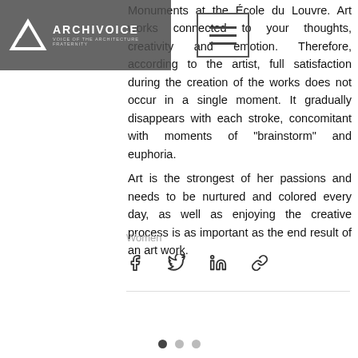ARCHIVOICE — Voice of the Architecture Fraternity
Monuments at the Ecole du Louvre. Art works connected to your thoughts, creativity and emotion. Therefore, according to the artist, full satisfaction during the creation of the works does not occur in a single moment. It gradually disappears with each stroke, concomitant with moments of "brainstorm" and euphoria.
Art is the strongest of her passions and needs to be nurtured and colored every day, as well as enjoying the creative process is as important as the end result of an art work.
Women
[Figure (other): Social share icons: Facebook, Twitter, LinkedIn, and link/chain icon]
[Figure (other): Pagination dots: three dots, first dot filled/active, second and third grey]